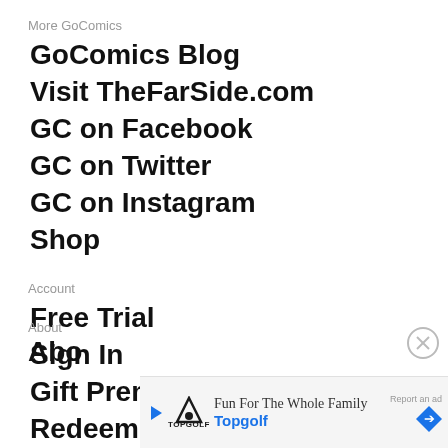More GoComics
GoComics Blog
Visit TheFarSide.com
GC on Facebook
GC on Twitter
GC on Instagram
Shop
Account
Free Trial
Sign In
Gift Premium
Redeem a Gift
About
Abo
[Figure (screenshot): Advertisement banner for Topgolf: 'Fun For The Whole Family' with Topgolf logo, play button, report ad link, and navigation arrow.]